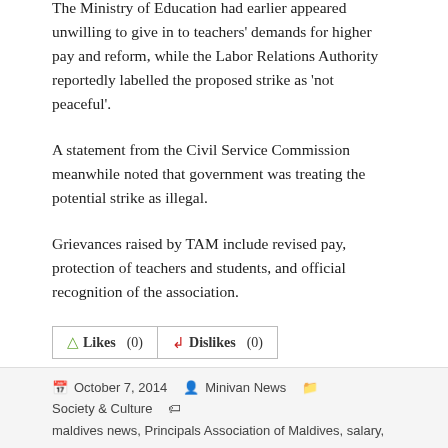The Ministry of Education had earlier appeared unwilling to give in to teachers' demands for higher pay and reform, while the Labor Relations Authority reportedly labelled the proposed strike as 'not peaceful'.
A statement from the Civil Service Commission meanwhile noted that government was treating the potential strike as illegal.
Grievances raised by TAM include revised pay, protection of teachers and students, and official recognition of the association.
[Figure (other): Likes (0) and Dislikes (0) buttons with thumbs up and thumbs down icons]
October 7, 2014   Minivan News   Society & Culture   maldives news, Principals Association of Maldives, salary,